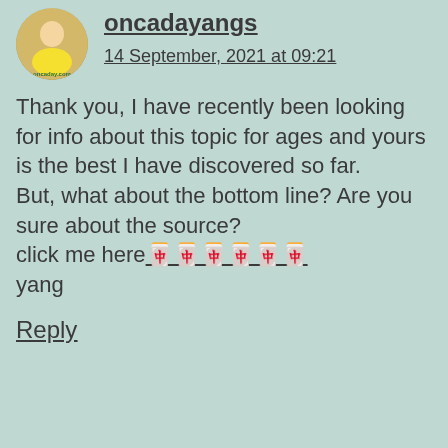oncadayangs
14 September, 2021 at 09:21
Thank you, I have recently been looking for info about this topic for ages and yours is the best I have discovered so far. But, what about the bottom line? Are you sure about the source? click me here🀄🀄🀄🀄🀄🀄 yang
Reply